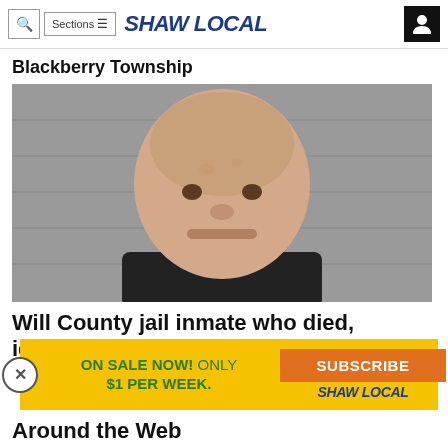Shaw Local — navigation bar with search, Sections menu, Shaw Local logo, user icon
Blackberry Township
[Figure (photo): Mugshot of an older bald white male with stubble beard, wearing a dark shirt, against a grey cinder block wall background]
Will County jail inmate who died, identified as man charged with
[Figure (infographic): Subscription popup bar with yellow background showing: ON SALE NOW! ONLY $1 PER WEEK. with a SUBSCRIBE button and SHAW LOCAL logo, and an X close button]
Around the Web